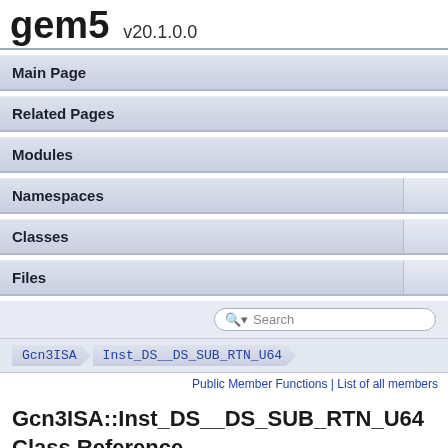gem5 v20.1.0.0
Main Page
Related Pages
Modules
Namespaces
Classes
Files
Search
Gcn3ISA > Inst_DS__DS_SUB_RTN_U64
Public Member Functions | List of all members
Gcn3ISA::Inst_DS__DS_SUB_RTN_U64 Class Reference